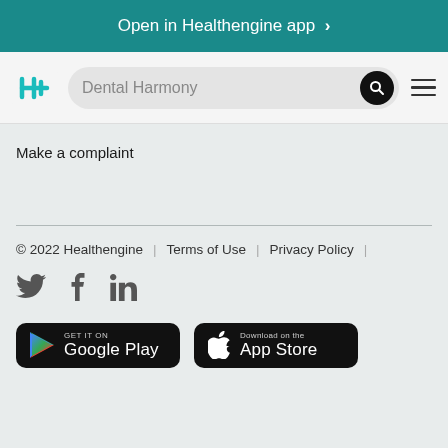Open in Healthengine app >
[Figure (logo): Healthengine teal H+ logo with search bar showing 'Dental Harmony' and hamburger menu]
Make a complaint
© 2022 Healthengine | Terms of Use | Privacy Policy
[Figure (infographic): Social media icons: Twitter, Facebook, LinkedIn]
[Figure (infographic): Google Play and App Store download buttons]